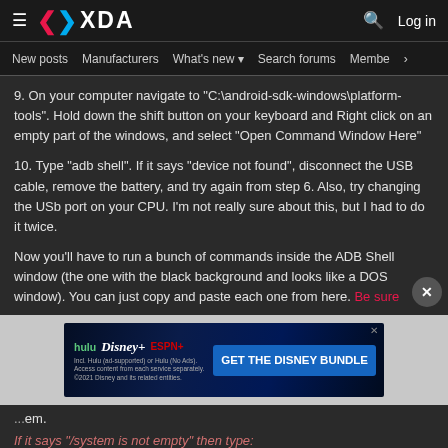XDA — New posts  Manufacturers  What's new  Search forums  Members  >
9. On your computer navigate to "C:\android-sdk-windows\platform-tools". Hold down the shift button on your keyboard and Right click on an empty part of the windows, and select "Open Command Window Here"
10. Type "adb shell". If it says "device not found", disconnect the USB cable, remove the battery, and try again from step 6. Also, try changing the USb port on your CPU. I'm not really sure about this, but I had to do it twice.
Now you'll have to run a bunch of commands inside the ADB Shell window (the one with the black background and looks like a DOS window). You can just copy and paste each one from here. Be sure
[Figure (screenshot): Hulu Disney+ ESPN+ advertisement banner: GET THE DISNEY BUNDLE]
If it says "/system is not empty" then type: